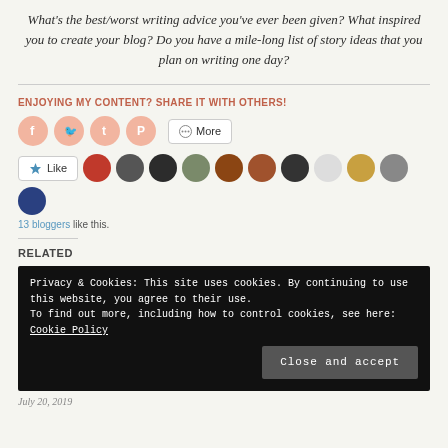What's the best/worst writing advice you've ever been given? What inspired you to create your blog? Do you have a mile-long list of story ideas that you plan on writing one day?
ENJOYING MY CONTENT? SHARE IT WITH OTHERS!
[Figure (infographic): Social share buttons: Facebook, Twitter, Tumblr, Pinterest icons and a More button]
[Figure (infographic): Like button with star icon, and 13 blogger avatars]
13 bloggers like this.
RELATED
Privacy & Cookies: This site uses cookies. By continuing to use this website, you agree to their use. To find out more, including how to control cookies, see here: Cookie Policy
Close and accept
July 20, 2019